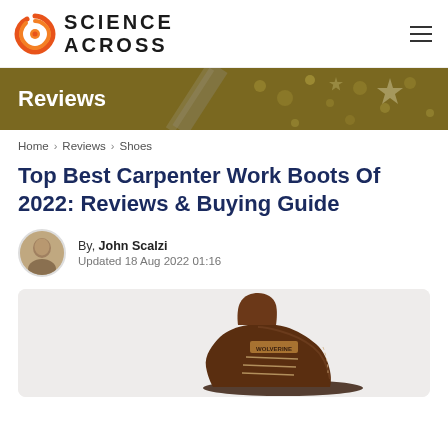[Figure (logo): Science Across logo with orange spiral/eye icon and bold uppercase site name text]
[Figure (photo): Banner background showing gold/olive colored background with stars and dots decoration, with white text 'Reviews']
Reviews
Home > Reviews > Shoes
Top Best Carpenter Work Boots Of 2022: Reviews & Buying Guide
By, John Scalzi
Updated 18 Aug 2022 01:16
[Figure (photo): Brown work boot (Wolverine brand) on light gray background, showing toe and upper portion of the boot]